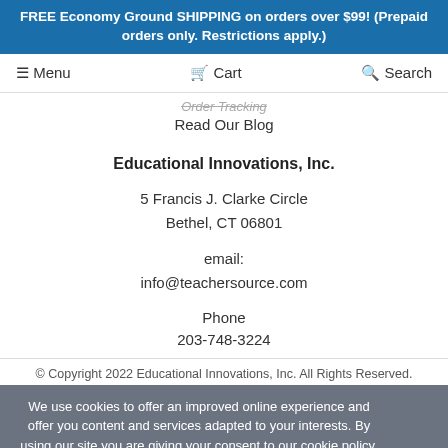FREE Economy Ground SHIPPING on orders over $99! (Prepaid orders only. Restrictions apply.)
☰ Menu   🛒 Cart   🔍 Search
Order Tracking
Read Our Blog
Educational Innovations, Inc.
5 Francis J. Clarke Circle
Bethel, CT 06801
email:
info@teachersource.com
Phone
203-748-3224
© Copyright 2022 Educational Innovations, Inc. All Rights Reserved.
We use cookies to offer an improved online experience and offer you content and services adapted to your interests. By using our site you are giving your consent to our cookie policy.
I UNDERSTAND